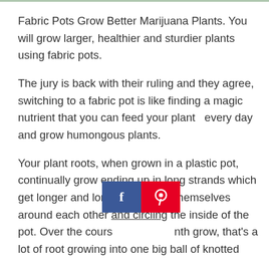Fabric Pots Grow Better Marijuana Plants. You will grow larger, healthier and sturdier plants using fabric pots.
The jury is back with their ruling and they agree, switching to a fabric pot is like finding a magic nutrient that you can feed your plant  every day and grow humongous plants.
Your plant roots, when grown in a plastic pot, continually grow ending up in long strands which get longer and longer wrapping themselves around each other and circling the inside of the pot. Over the course of a month grow, that's a lot of root growing into one big ball of knotted
[Figure (other): Social sharing bar with Facebook (blue) and Pinterest (red) buttons]